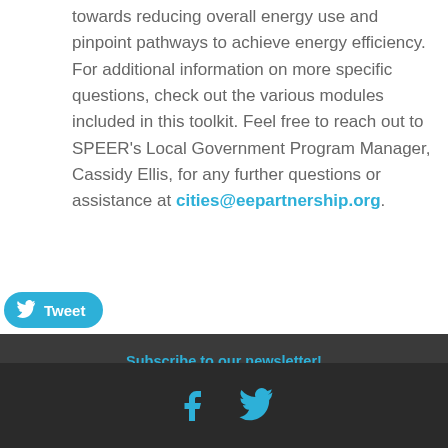towards reducing overall energy use and pinpoint pathways to achieve energy efficiency. For additional information on more specific questions, check out the various modules included in this toolkit. Feel free to reach out to SPEER's Local Government Program Manager, Cassidy Ellis, for any further questions or assistance at cities@eepartnership.org.
Tweet
Subscribe to our newsletter!
Events Calendar
Membership Directory